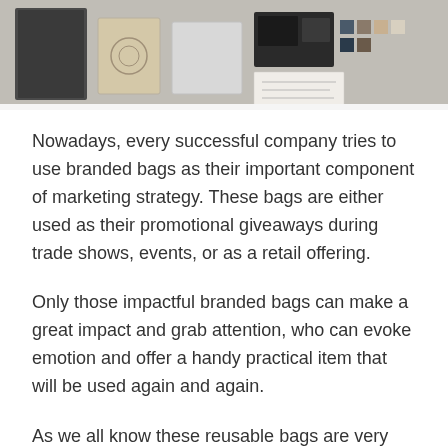[Figure (photo): Branded products and bags promotional photo showing notebooks, samples and accessories arranged on a surface]
Nowadays, every successful company tries to use branded bags as their important component of marketing strategy. These bags are either used as their promotional giveaways during trade shows, events, or as a retail offering.
Only those impactful branded bags can make a great impact and grab attention, who can evoke emotion and offer a handy practical item that will be used again and again.
As we all know these reusable bags are very popular as an effective marketing tool, hence there is no shortage of choices available to you